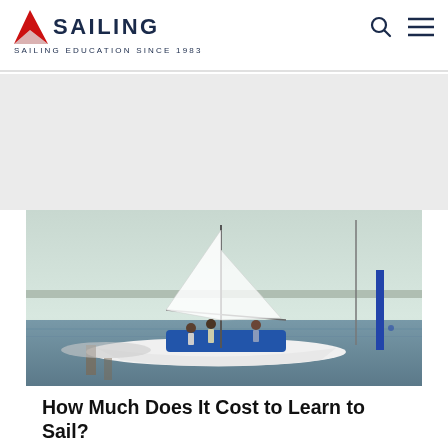AMERICAN SAILING — SAILING EDUCATION SINCE 1983
[Figure (photo): People on a white sailboat docked at a marina, with calm water and distant skyline in the background under a hazy sky.]
How Much Does It Cost to Learn to Sail?